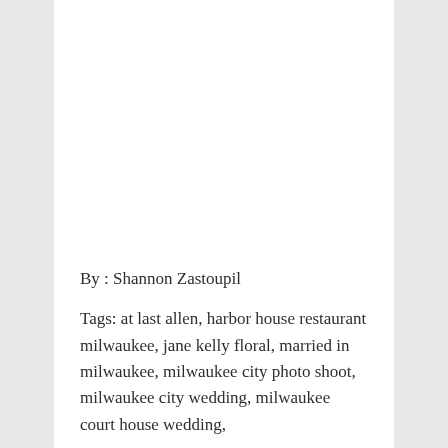By : Shannon Zastoupil
Tags: at last allen, harbor house restaurant milwaukee, jane kelly floral, married in milwaukee, milwaukee city photo shoot, milwaukee city wedding, milwaukee court house wedding,